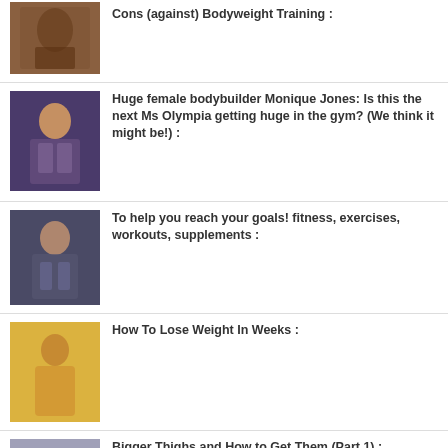Cons (against) Bodyweight Training:
Huge female bodybuilder Monique Jones: Is this the next Ms Olympia getting huge in the gym? (We think it might be!) :
To help you reach your goals! fitness, exercises, workouts, supplements :
How To Lose Weight In Weeks :
Bigger Thighs and How to Get Them (Part 1) :